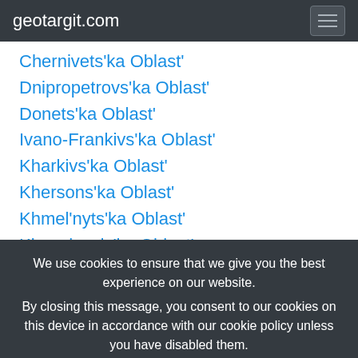geotargit.com
Chernivets'ka Oblast'
Dnipropetrovs'ka Oblast'
Donets'ka Oblast'
Ivano-Frankivs'ka Oblast'
Kharkivs'ka Oblast'
Khersons'ka Oblast'
Khmel'nyts'ka Oblast'
Kirovohrads'ka Oblast'
We use cookies to ensure that we give you the best experience on our website. By closing this message, you consent to our cookies on this device in accordance with our cookie policy unless you have disabled them.
I Agree!